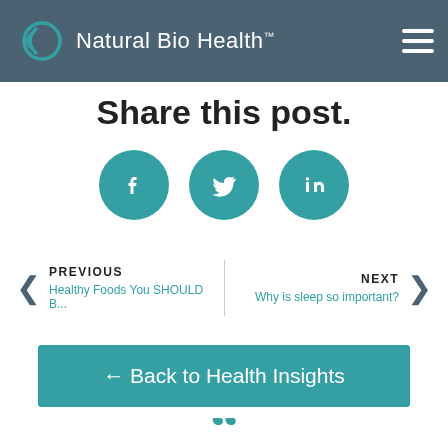Natural Bio Health™
Share this post.
[Figure (illustration): Three teal circular social media share buttons: Facebook, Twitter, LinkedIn]
PREVIOUS
Healthy Foods You SHOULD B...
NEXT
Why is sleep so important?
← Back to Health Insights
[Figure (illustration): Large teal opening quotation mark decorative element]